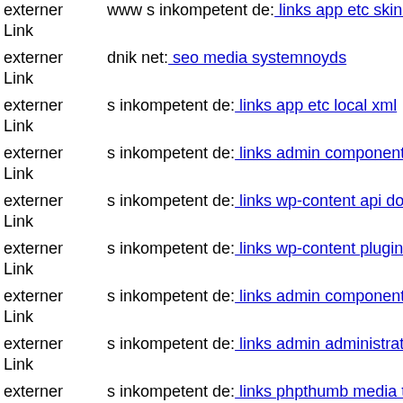externer Link | www s inkompetent de: links app etc skin administrator components...
externer Link | dnik net: seo media systemnoyds
externer Link | s inkompetent de: links app etc local xml
externer Link | s inkompetent de: links admin components'pwczs
externer Link | s inkompetent de: links wp-content api downloader media g...
externer Link | s inkompetent de: links wp-content plugins wp-mobile-dete...
externer Link | s inkompetent de: links admin components com civicrm civ...
externer Link | s inkompetent de: links admin administrator administrator v...
externer Link | s inkompetent de: links phpthumb media tinymce jscripts s...
externer Link | s inkompetent de: links app etc skin administrator wp-conte...
externer Link | s inkompetent de: links wp-content themes themorningafter...
externer Link | www dnik net: seo is webforms upload media components...